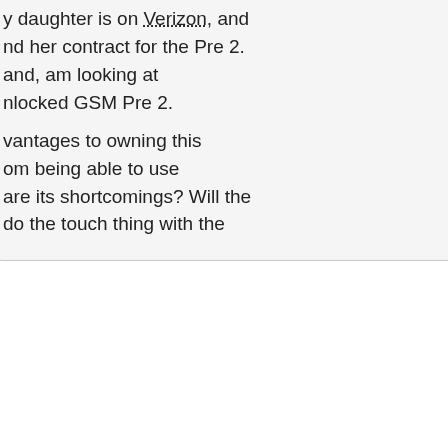y daughter is on Verizon, and nd her contract for the Pre 2. and, am looking at nlocked GSM Pre 2.
vantages to owning this om being able to use are its shortcomings? Will the do the touch thing with the
he touch thing ever with the ot have the right hardware. The dlware but needs upgraded software ot gotten (yet). On the other hand, I ATO! On Pre2 which does transfer n on the phone.
smartphone. It takes a week or so